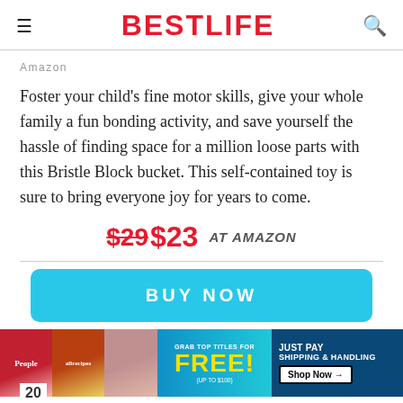BESTLIFE
Amazon
Foster your child's fine motor skills, give your whole family a fun bonding activity, and save yourself the hassle of finding space for a million loose parts with this Bristle Block bucket. This self-contained toy is sure to bring everyone joy for years to come.
$29 $23 AT AMAZON
[Figure (infographic): BUY NOW button in cyan/turquoise color]
[Figure (infographic): Advertisement banner: Grab top titles for FREE! (up to $100). Just pay shipping & handling. Shop Now arrow button.]
20